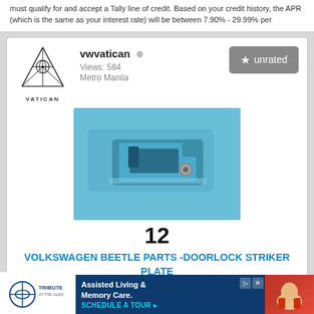must qualify for and accept a Tally line of credit. Based on your credit history, the APR (which is the same as your interest rate) will be between 7.90% - 29.99% per
vwvatican
Views: 584
Metro Manila
unrated
[Figure (photo): Photo of a Volkswagen Beetle doorlock striker plate, metallic blue/steel colored mechanical part with holes and bolt]
12
VOLKSWAGEN BEETLE PARTS -DOORLOCK STRIKER PLATE
Love Ur Beetle!!! Volkswagen beetle parts - doorlock striker plate ... ct Pas
[Figure (screenshot): Advertisement for Tribute at the Glen - Assisted Living & Memory Care. Schedule a Tour.]